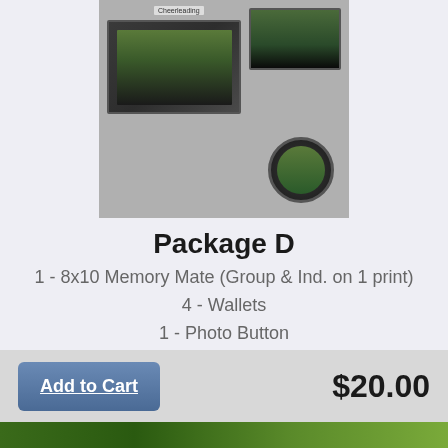[Figure (photo): Product photo showing cheerleading photo package with group team photo on dark background, individual action shot in upper right, and a circular framed photo, labeled 'Cheerleading']
Package D
1 - 8x10 Memory Mate (Group & Ind. on 1 print)
4 - Wallets
1 - Photo Button
Change the quantity?
Add to Cart
$20.00